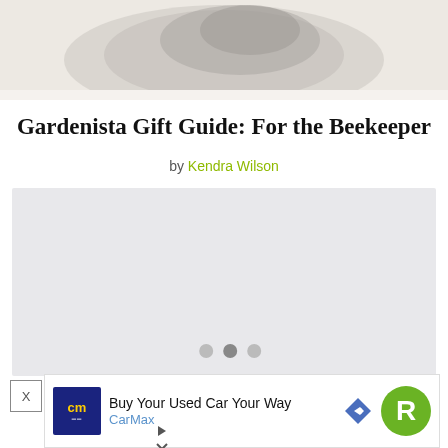[Figure (photo): Partial view of a gray/silver shoe or object on a light background, cropped at top of page]
Gardenista Gift Guide: For the Beekeeper
by Kendra Wilson
[Figure (other): Gray placeholder advertisement banner with two navigation dots at bottom]
[Figure (other): CarMax advertisement: Buy Your Used Car Your Way - CarMax, with CarMax logo, navigation arrow icon, and green R badge]